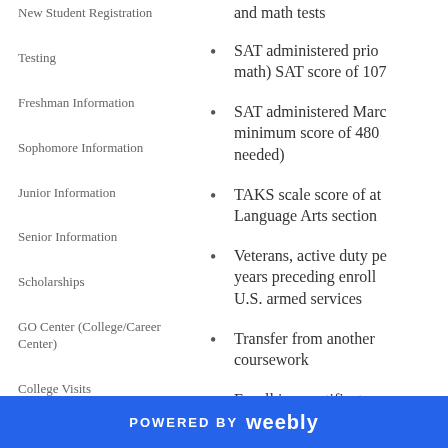and math tests
SAT administered prior math) SAT score of 107
SAT administered Marc minimum score of 480 needed)
TAKS scale score of at Language Arts section
Veterans, active duty pe years preceding enroll U.S. armed services
Transfer from another coursework
Enroll in a certificate p institution.
New Student Registration
Testing
Freshman Information
Sophomore Information
Junior Information
Senior Information
Scholarships
GO Center (College/Career Center)
College Visits
POWERED BY weebly